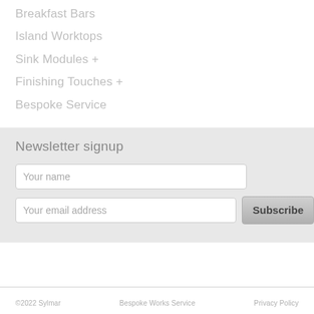Breakfast Bars
Island Worktops
Sink Modules +
Finishing Touches +
Bespoke Service
Newsletter signup
Your name
Your email address
Subscribe
©2022 Sylmar   Bespoke Works Service   Privacy Policy